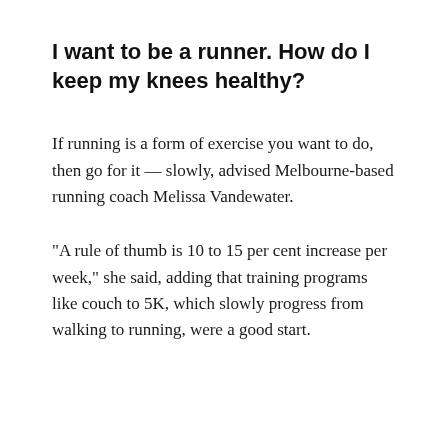I want to be a runner. How do I keep my knees healthy?
If running is a form of exercise you want to do, then go for it — slowly, advised Melbourne-based running coach Melissa Vandewater.
"A rule of thumb is 10 to 15 per cent increase per week," she said, adding that training programs like couch to 5K, which slowly progress from walking to running, were a good start.